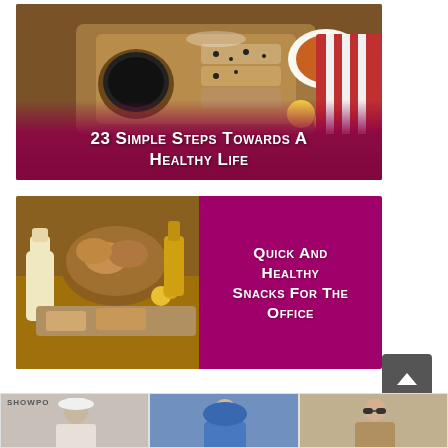[Figure (photo): Food photo from above showing sliced bread roll, bowl of black pepper, tea cup, lemon slices and red striped napkin on a wooden board. Dark magenta/pink overlay at bottom with white bold text reading '23 Simple Steps Towards A Healthy Life'.]
[Figure (photo): Photo of breakfast foods including basket of pastries/breads, milk bottle, various foods on a counter. Right half has solid magenta/pink background with white bold text reading 'Quick And Healthy Snacks For The Office'.]
[Figure (other): Gray back-to-top button with upward chevron arrow.]
[Figure (photo): Bottom strip showing three fashion photos with Showpo branding on the first cell.]